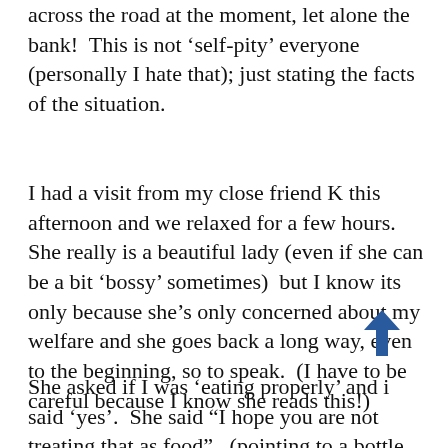across the road at the moment, let alone the bank!  This is not ‘self-pity’ everyone (personally I hate that); just stating the facts of the situation.

I had a visit from my close friend K this afternoon and we relaxed for a few hours.  She really is a beautiful lady (even if she can be a bit ‘bossy’ sometimes)  but I know its only because she’s only concerned about my welfare and she goes back a long way, even to the beginning, so to speak.  (I have to be careful because I know she reads this!)
She asked if I was ‘eating properly’ and i said ‘yes’.  She said “I hope you are not treating that as food”.  (pointing to a bottle of wine Gareth